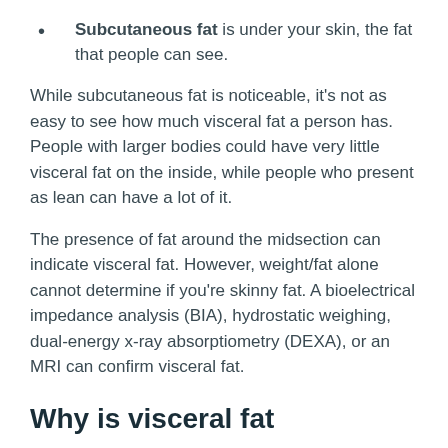Subcutaneous fat is under your skin, the fat that people can see.
While subcutaneous fat is noticeable, it's not as easy to see how much visceral fat a person has. People with larger bodies could have very little visceral fat on the inside, while people who present as lean can have a lot of it.
The presence of fat around the midsection can indicate visceral fat. However, weight/fat alone cannot determine if you're skinny fat. A bioelectrical impedance analysis (BIA), hydrostatic weighing, dual-energy x-ray absorptiometry (DEXA), or an MRI can confirm visceral fat.
Why is visceral fat